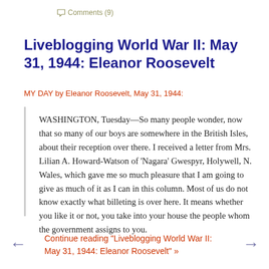Comments (9)
Liveblogging World War II: May 31, 1944: Eleanor Roosevelt
MY DAY by Eleanor Roosevelt, May 31, 1944:
WASHINGTON, Tuesday—So many people wonder, now that so many of our boys are somewhere in the British Isles, about their reception over there. I received a letter from Mrs. Lilian A. Howard-Watson of 'Nagara' Gwespyr, Holywell, N. Wales, which gave me so much pleasure that I am going to give as much of it as I can in this column. Most of us do not know exactly what billeting is over here. It means whether you like it or not, you take into your house the people whom the government assigns to you.
Continue reading "Liveblogging World War II: May 31, 1944: Eleanor Roosevelt" »